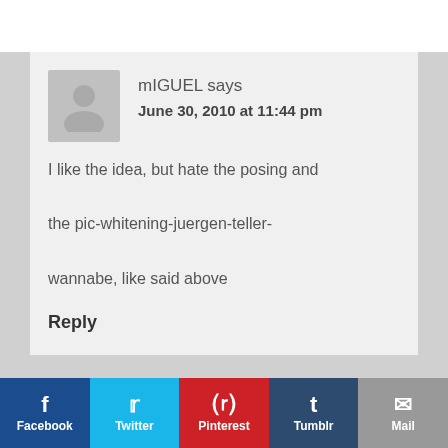mIGUEL says
June 30, 2010 at 11:44 pm
I like the idea, but hate the posing and the pic-whitening-juergen-teller-wannabe, like said above
Reply
Facebook  Twitter  Pinterest  Tumblr  Mail